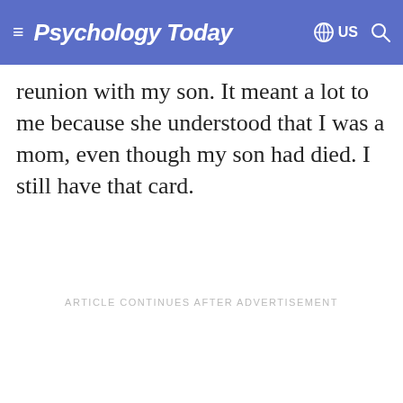Psychology Today  US
reunion with my son. It meant a lot to me because she understood that I was a mom, even though my son had died. I still have that card.
ARTICLE CONTINUES AFTER ADVERTISEMENT